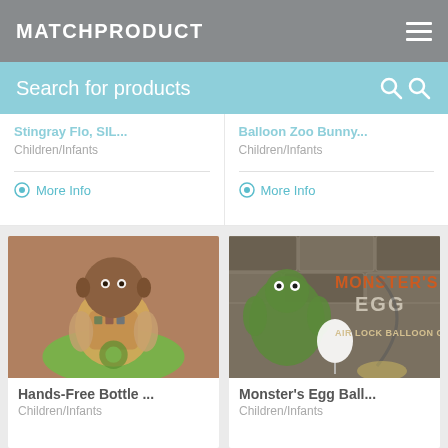MATCHPRODUCT
Search for products
Children/Infants
More Info
Children/Infants
More Info
[Figure (photo): A baby sitting in a green bouncer/activity seat, chewing on something, wearing a patterned outfit]
Hands-Free Bottle ...
Children/Infants
[Figure (photo): Monster's Egg Ball product image with Air Lock Balloon Co. branding, showing a monster character and a balloon against a stone wall background]
Monster's Egg Ball...
Children/Infants